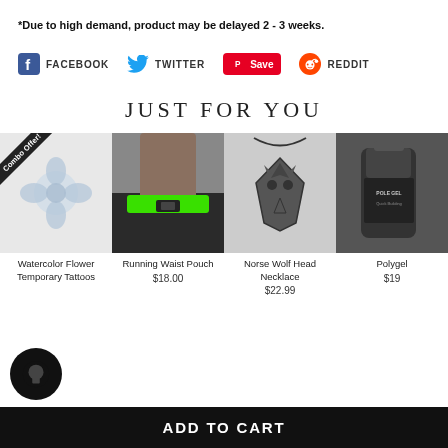*Due to high demand, product may be delayed 2 - 3 weeks.
[Figure (infographic): Social share buttons: Facebook, Twitter, Pinterest Save, Reddit]
JUST FOR YOU
[Figure (photo): Watercolor Flower Temporary Tattoos product image with Combo Offer badge]
Watercolor Flower Temporary Tattoos
[Figure (photo): Running Waist Pouch product image]
Running Waist Pouch
$18.00
[Figure (photo): Norse Wolf Head Necklace product image]
Norse Wolf Head Necklace
$22.99
[Figure (photo): Polygel product image (partially visible)]
Polygel
$19
ADD TO CART